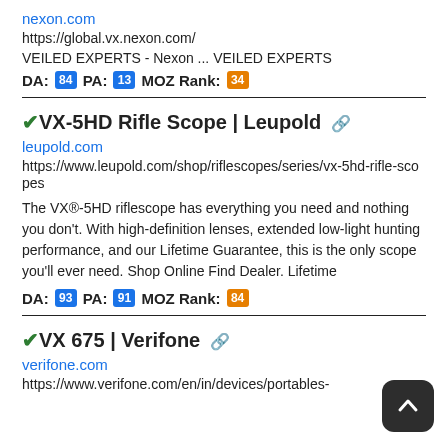nexon.com
https://global.vx.nexon.com/
VEILED EXPERTS - Nexon ... VEILED EXPERTS
DA: 84 PA: 13 MOZ Rank: 34
VX-5HD Rifle Scope | Leupold
leupold.com
https://www.leupold.com/shop/riflescopes/series/vx-5hd-rifle-scopes
The VX®-5HD riflescope has everything you need and nothing you don't. With high-definition lenses, extended low-light hunting performance, and our Lifetime Guarantee, this is the only scope you'll ever need. Shop Online Find Dealer. Lifetime
DA: 93 PA: 91 MOZ Rank: 84
VX 675 | Verifone
verifone.com
https://www.verifone.com/en/in/devices/portables-